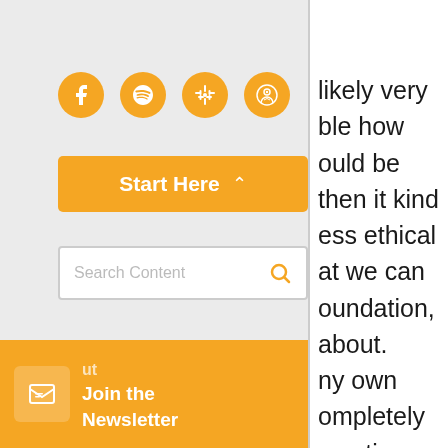[Figure (screenshot): Navigation sidebar with social media icons (Facebook, Spotify, Google Podcasts, Apple Podcasts), a Start Here dropdown button, a Search Content field, nav links (Home, Podcasts, All Content), and a Join the Newsletter badge. Right side shows partial text content from an article.]
Home
Podcasts
All Content
likely very
ble how
ould be
then it kind
ess ethical
at we can
oundation,
about.
ny own
ompletely
scrutiny
er about it.
we don't
o have
, giving up
worth the
ble to
a level of